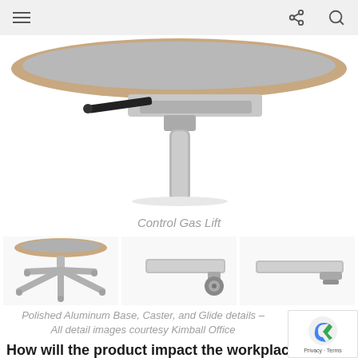Navigation bar with menu, share, and search icons
[Figure (photo): Close-up product photo of a chair's gas lift mechanism — a cylindrical silver post with a metal adjustment lever arm, viewed from below against a white background]
Control Gas Lift
[Figure (photo): Three side-by-side product detail photos: left shows a polished aluminum 4-star base with chair seat on top; center shows a caster wheel detail on a gray base leg; right shows a glide foot detail on a gray base]
Polished Aluminum Base, Caster, and Glide details – All detail images courtesy Kimball Office
How will the product impact the workplace and